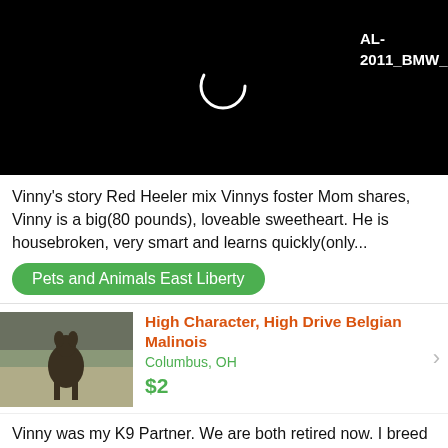[Figure (screenshot): Black video player background with a loading spinner circle on the left and text 'AL-2011_BMW_5_Series_Sed...' on the right in white bold font]
Vinny's story Red Heeler mix Vinnys foster Mom shares, Vinny is a big(80 pounds), loveable sweetheart. He is housebroken, very smart and learns quickly(only...
Pets and Animals East Liberty
High Character, High Drive Belgian Malinois
Columbus, OH
$2
[Figure (photo): Photo of a Belgian Malinois dog outdoors in a dry field]
Vinny was my K9 Partner. We are both retired now. I breed Vinny with an Excellent female named Willow. Willow had a full healthy litter of 10 Belgian...
Pets and Animals Columbus
Adorable Blue Heeler Puppies
Dalton, OH